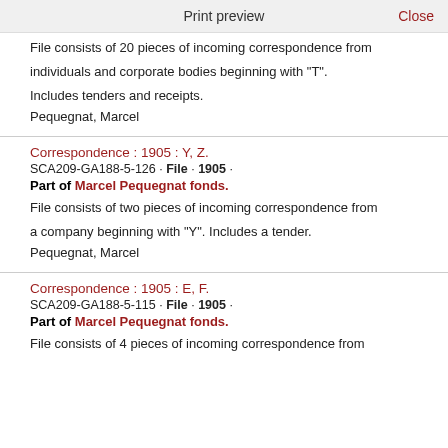Print preview   Close
File consists of 20 pieces of incoming correspondence from individuals and corporate bodies beginning with "T". Includes tenders and receipts.
Pequegnat, Marcel
Correspondence : 1905 : Y, Z.
SCA209-GA188-5-126 · File · 1905 ·
Part of Marcel Pequegnat fonds.
File consists of two pieces of incoming correspondence from a company beginning with "Y". Includes a tender.
Pequegnat, Marcel
Correspondence : 1905 : E, F.
SCA209-GA188-5-115 · File · 1905 ·
Part of Marcel Pequegnat fonds.
File consists of 4 pieces of incoming correspondence from